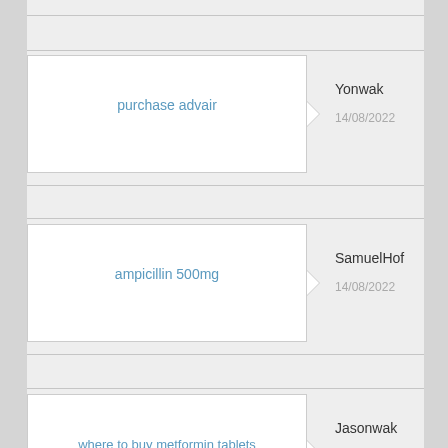purchase advair
ampicillin 500mg
where to buy metformin tablets